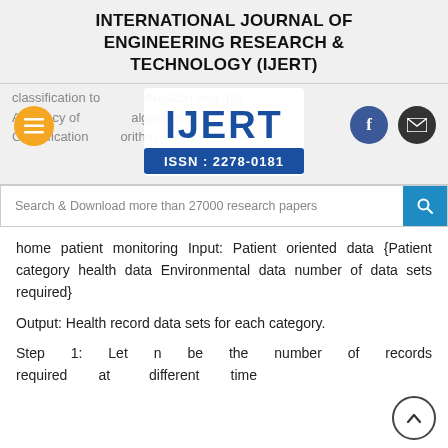INTERNATIONAL JOURNAL OF ENGINEERING RESEARCH & TECHNOLOGY (IJERT)
[Figure (logo): IJERT logo with ISSN: 2278-0181, overlaid on partially visible text about classification tools, Amazon Fog, accuracy of algorithms, Classification algorithm. Hamburger menu button (orange circle), Facebook and email social buttons visible.]
[Figure (screenshot): Search bar with text: Search & Download more than 27000 research papers, with blue search button]
home patient monitoring Input: Patient oriented data {Patient category health data Environmental data number of data sets required}
Output: Health record data sets for each category.
Step 1: Let n be the number of records required at different time